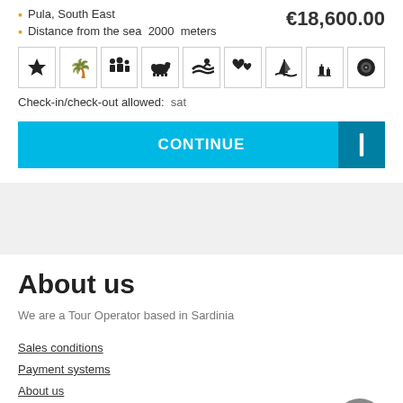Pula, South East
€18,600.00
Distance from the sea  2000  meters
[Figure (infographic): Row of 9 icon boxes: star, palm tree, family, dog, swimmer, hearts, windsurfer, candles, vinyl record]
Check-in/check-out allowed:  sat
CONTINUE
About us
We are a Tour Operator based in Sardinia
Sales conditions
Payment systems
About us
Contact us
Cookie policy
Privacy policy